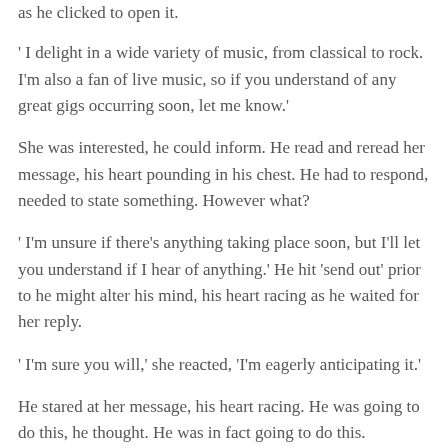as he clicked to open it.
' I delight in a wide variety of music, from classical to rock. I'm also a fan of live music, so if you understand of any great gigs occurring soon, let me know.'
She was interested, he could inform. He read and reread her message, his heart pounding in his chest. He had to respond, needed to state something. However what?
' I'm unsure if there's anything taking place soon, but I'll let you understand if I hear of anything.' He hit 'send out' prior to he might alter his mind, his heart racing as he waited for her reply.
' I'm sure you will,' she reacted, 'I'm eagerly anticipating it.'
He stared at her message, his heart racing. He was going to do this, he thought. He was in fact going to do this.